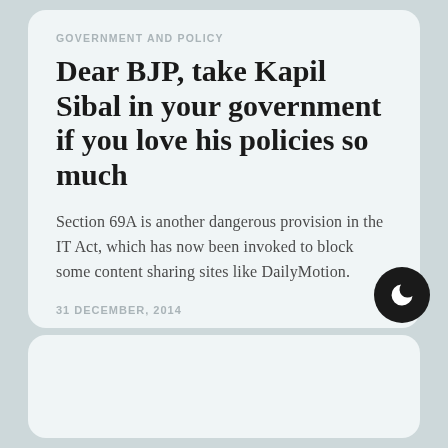GOVERNMENT AND POLICY
Dear BJP, take Kapil Sibal in your government if you love his policies so much
Section 69A is another dangerous provision in the IT Act, which has now been invoked to block some content sharing sites like DailyMotion.
31 DECEMBER, 2014